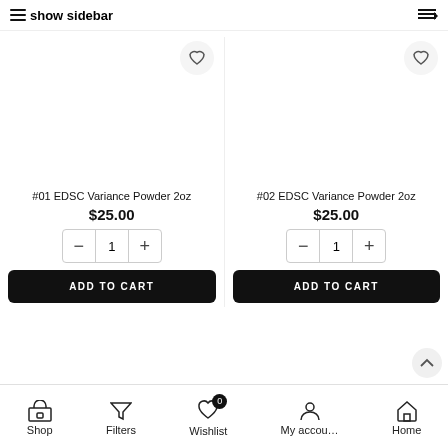show sidebar
#01 EDSC Variance Powder 2oz
$25.00
#02 EDSC Variance Powder 2oz
$25.00
Shop | Filters | Wishlist 0 | My accou... | Home